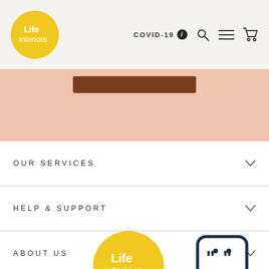[Figure (logo): Life Interiors logo - yellow circle with white text]
COVID-19 ℹ
[Figure (screenshot): Navigation bar with search, hamburger menu, and cart icons]
[Figure (other): Pink/peach banner with a dark brown button]
OUR SERVICES
HELP & SUPPORT
ABOUT US
[Figure (logo): Life Interiors footer logo - yellow circle with white text]
[Figure (other): Chat/support icon - speech bubble with quotation marks and smiley face]